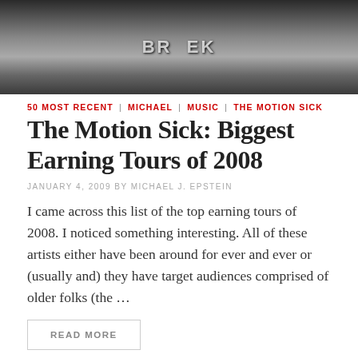[Figure (photo): Black and white textured photo with partial text 'BR EK' visible, appears to be a close-up of an engraved or embossed surface.]
50 MOST RECENT | MICHAEL | MUSIC | THE MOTION SICK
The Motion Sick: Biggest Earning Tours of 2008
JANUARY 4, 2009 BY MICHAEL J. EPSTEIN
I came across this list of the top earning tours of 2008. I noticed something interesting. All of these artists either have been around for ever and ever or (usually and) they have target audiences comprised of older folks (the …
READ MORE
[Figure (photo): Black and white textured photo with partial text 'ra 229 exc' visible on a dark surface, with a small rectangle overlay in upper right corner.]